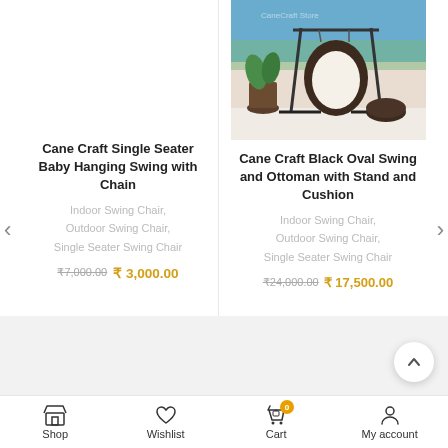[Figure (photo): Right product: Cane Craft Black Oval Swing and Ottoman with Stand and Cushion – outdoor scene with swing chair on a terrace]
Cane Craft Single Seater Baby Hanging Swing with Chain
Indoor Swing Chair, Outdoor Swing Chair, Single Seater Swing Chair
₹7,000.00  ₹ 3,000.00
Cane Craft Black Oval Swing and Ottoman with Stand and Cushion
Indoor Swing Chair, Outdoor Swing Chair, Single Seater Swing Chair
₹24,000.00  ₹ 17,500.00
Shop  Wishlist  Cart  My account